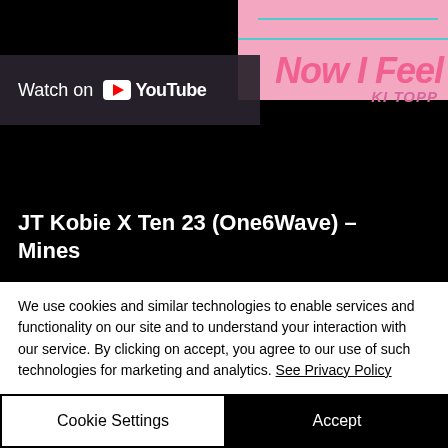[Figure (screenshot): YouTube embedded video player showing 'JT Kobie X Ten 23 (One6Wave) - Mines' with a pink background thumbnail and 'Watch on YouTube' overlay. The video title reads 'Now I Feel' with 'KI TOPP' subtitle on the pink area.]
We use cookies and similar technologies to enable services and functionality on our site and to understand your interaction with our service. By clicking on accept, you agree to our use of such technologies for marketing and analytics. See Privacy Policy